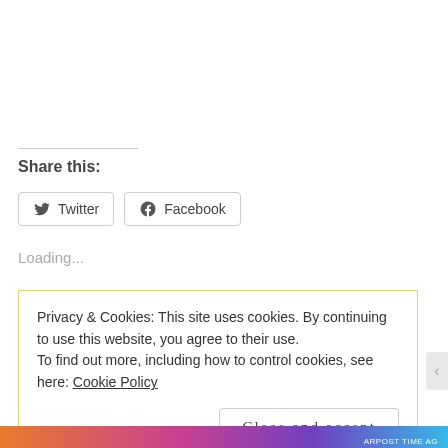Share this:
Twitter
Facebook
Loading...
Privacy & Cookies: This site uses cookies. By continuing to use this website, you agree to their use. To find out more, including how to control cookies, see here: Cookie Policy
Close and accept